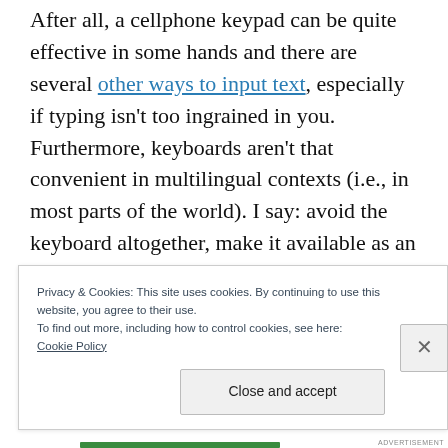After all, a cellphone keypad can be quite effective in some hands and there are several other ways to input text, especially if typing isn't too ingrained in you. Furthermore, keyboards aren't that convenient in multilingual contexts (i.e., in most parts of the world). I say: avoid the keyboard altogether, make it available as an option, or use a virtual one. People will complain. But it's a necessary step.
Privacy & Cookies: This site uses cookies. By continuing to use this website, you agree to their use.
To find out more, including how to control cookies, see here:
Cookie Policy
Close and accept